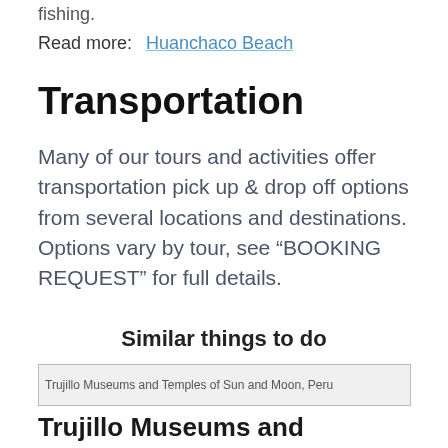fishing.
Read more:  Huanchaco Beach
Transportation
Many of our tours and activities offer transportation pick up & drop off options from several locations and destinations. Options vary by tour, see “BOOKING REQUEST” for full details.
Similar things to do
[Figure (photo): Trujillo Museums and Temples of Sun and Moon, Peru]
Trujillo Museums and Temples of